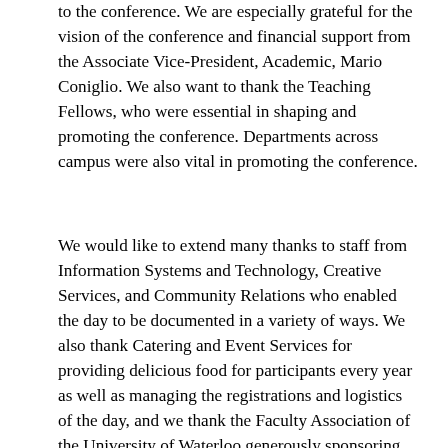to the conference. We are especially grateful for the vision of the conference and financial support from the Associate Vice-President, Academic, Mario Coniglio. We also want to thank the Teaching Fellows, who were essential in shaping and promoting the conference. Departments across campus were also vital in promoting the conference.
We would like to extend many thanks to staff from Information Systems and Technology, Creative Services, and Community Relations who enabled the day to be documented in a variety of ways. We also thank Catering and Event Services for providing delicious food for participants every year as well as managing the registrations and logistics of the day, and we thank the Faculty Association of the University of Waterloo generously sponsoring breakfast for the conference.